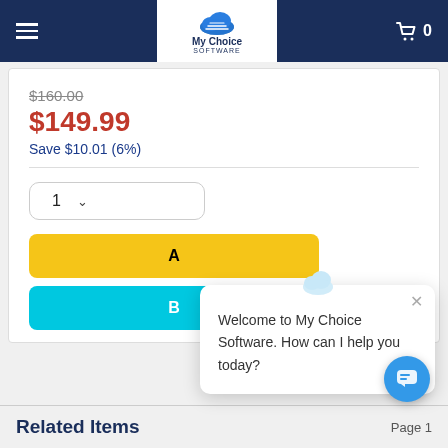My Choice SOFTWARE — navigation header with hamburger menu and cart (0 items)
$160.00 (strikethrough)
$149.99
Save $10.01 (6%)
[Figure (screenshot): Quantity selector showing '1' with dropdown arrow, followed by Add to Cart (yellow button) and Buy (cyan button), partially obscured by chat popup]
[Figure (screenshot): Chat popup overlay with cloud logo icon, close X button, and text: 'Welcome to My Choice Software. How can I help you today?']
Related Items
Page 1